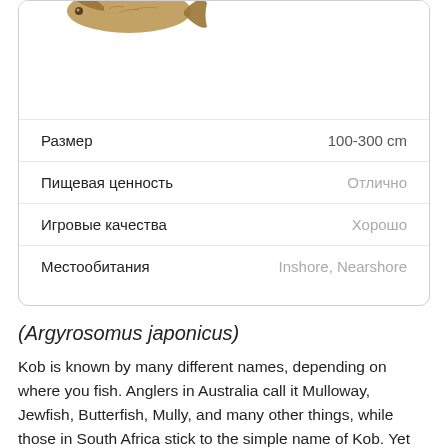[Figure (illustration): Partial illustration of a fish (Kob/Mulloway) shown in brown/tan tones, partially visible at the top of the card]
| Attribute | Value |
| --- | --- |
| Размер | 100-300 cm |
| Пищевая ценность | Отлично |
| Игровые качества | Хорошо |
| Местообитания | Inshore, Nearshore |
(Argyrosomus japonicus)
Kob is known by many different names, depending on where you fish. Anglers in Australia call it Mulloway, Jewfish, Butterfish, Mully, and many other things, while those in South Africa stick to the simple name of Kob. Yet another name for this fish is Japanese Meagre, which most closely resembles its latin name. No matter what you call it